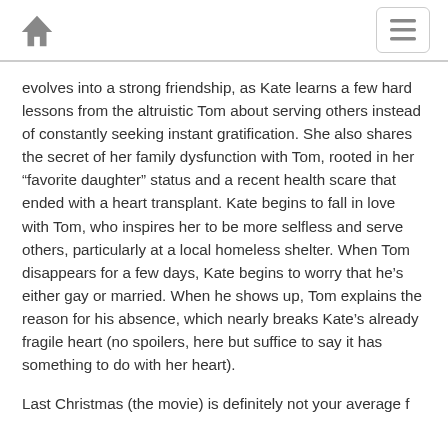Home | Menu
evolves into a strong friendship, as Kate learns a few hard lessons from the altruistic Tom about serving others instead of constantly seeking instant gratification. She also shares the secret of her family dysfunction with Tom, rooted in her “favorite daughter” status and a recent health scare that ended with a heart transplant. Kate begins to fall in love with Tom, who inspires her to be more selfless and serve others, particularly at a local homeless shelter. When Tom disappears for a few days, Kate begins to worry that he’s either gay or married. When he shows up, Tom explains the reason for his absence, which nearly breaks Kate’s already fragile heart (no spoilers, here but suffice to say it has something to do with her heart).
Last Christmas (the movie) is definitely not your average f...